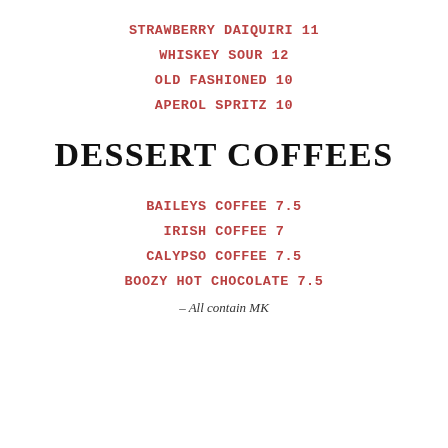STRAWBERRY DAIQUIRI 11
WHISKEY SOUR 12
OLD FASHIONED 10
APEROL SPRITZ 10
DESSERT COFFEES
BAILEYS COFFEE 7.5
IRISH COFFEE 7
CALYPSO COFFEE 7.5
BOOZY HOT CHOCOLATE 7.5
– All contain MK